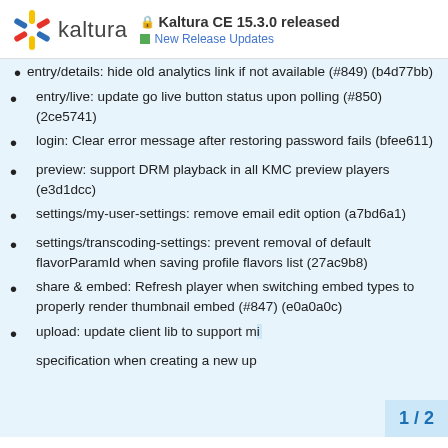Kaltura CE 15.3.0 released — New Release Updates
entry/details: hide old analytics link if not available (#849) (b4d77bb)
entry/live: update go live button status upon polling (#850) (2ce5741)
login: Clear error message after restoring password fails (bfee611)
preview: support DRM playback in all KMC preview players (e3d1dcc)
settings/my-user-settings: remove email edit option (a7bd6a1)
settings/transcoding-settings: prevent removal of default flavorParamId when saving profile flavors list (27ac9b8)
share & embed: Refresh player when switching embed types to properly render thumbnail embed (#847) (e0a0a0c)
upload: update client lib to support multipart upload specification when creating a new up…